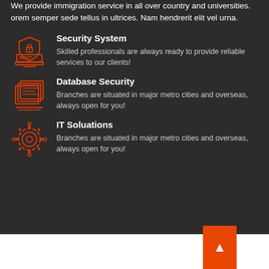We provide immigration service in all over country and universities. orem semper sede tellus in ultrices. Nam hendrerit elit vel urna.
Security System
[Figure (illustration): Red icon of a shield with a lock and computer/monitor base]
Skilled professionals are always ready to provide reliable services to our clients!
Database Security
[Figure (illustration): Red icon of stacked database/document pages]
Branches are situated in major metro cities and overseas, always open for you!
IT Soluations
[Figure (illustration): Red icon of a gear/settings wheel with circuit nodes]
Branches are situated in major metro cities and overseas, always open for you!